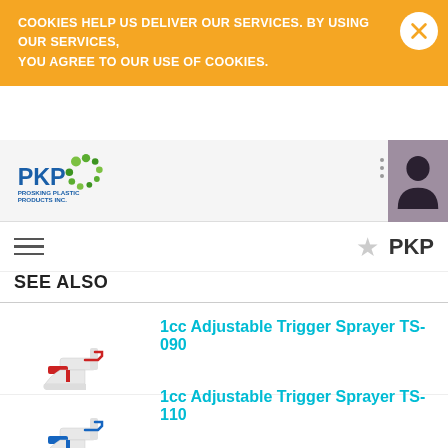COOKIES HELP US DELIVER OUR SERVICES. BY USING OUR SERVICES, YOU AGREE TO OUR USE OF COOKIES.
[Figure (logo): PKP Prosking Plastic Products Inc. logo with green circular design]
[Figure (illustration): User avatar silhouette on purple background]
SEE ALSO
1cc Adjustable Trigger Sprayer TS-090
[Figure (photo): Red and white trigger sprayer product image]
1cc Adjustable Trigger Sprayer TS-110
[Figure (photo): Blue trigger sprayer product image]
1cc Adjustable Trigger Sprayer TS-130
[Figure (photo): Yellow trigger sprayer product image (partially visible)]